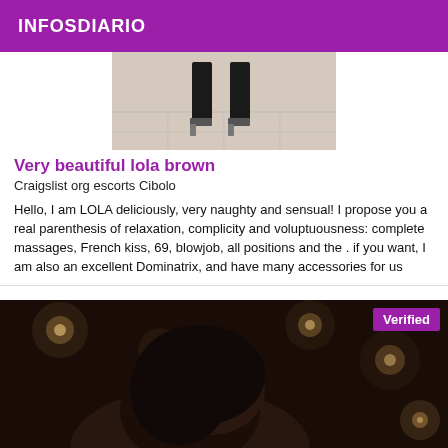INFOSDIARIO
[Figure (photo): Photo showing legs and high heels of a person wearing a black outfit, standing on a tiled floor]
Very beautiful lola brown
Craigslist org escorts Cibolo
Hello, I am LOLA deliciously, very naughty and sensual! I propose you a real parenthesis of relaxation, complicity and voluptuousness: complete massages, French kiss, 69, blowjob, all positions and the . if you want, I am also an excellent Dominatrix, and have many accessories for us
[Figure (photo): Dark bokeh photo of a person with dark hair, with glowing lights in the background, with a purple 'Verified' badge in the top right corner]